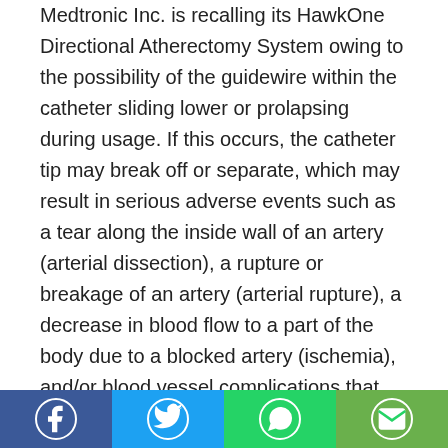Medtronic Inc. is recalling its HawkOne Directional Atherectomy System owing to the possibility of the guidewire within the catheter sliding lower or prolapsing during usage. If this occurs, the catheter tip may break off or separate, which may result in serious adverse events such as a tear along the inside wall of an artery (arterial dissection), a rupture or breakage of an artery (arterial rupture), a decrease in blood flow to a part of the body due to a blocked artery (ischemia), and/or blood vessel complications that may necessitate surgical repair and additional procedures to capture and remove the detached and/or migrated
According to the United States Food and Drug Administration (FDA), there have been 163 complaints
[Figure (infographic): Social sharing bar with four buttons: Facebook (dark blue), Twitter (light blue), WhatsApp (green), Email (olive green), each with white circular icon]